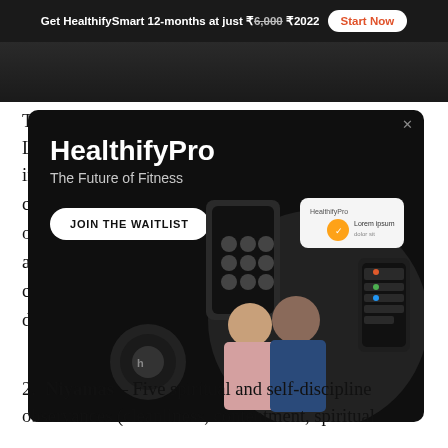Get HealthifySmart 12-months at just ₹6,000 ₹2022  Start Now
[Figure (photo): Dark background image strip at top of article]
These eight roads or paths are known as the 'Eight Limbs of Yoga', which offers a guide or roadmap to individuals w...
[Figure (infographic): HealthifyPro popup advertisement with dark background. Heading: HealthifyPro, Subtitle: The Future of Fitness. Button: JOIN THE WAITLIST. Shows fitness devices (smart scale, earbuds, phone) and two fitness trainers (man and woman).]
2. Niyamas – Five spiritual and self-discipline observances (cleanliness, contentment, spiritual